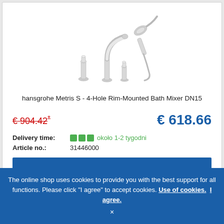[Figure (photo): Chrome bath mixer tap set with 4 holes, including spout, two handles/knobs, and handheld shower attachment]
hansgrohe Metris S - 4-Hole Rim-Mounted Bath Mixer DN15
€ 904.42* (old price, strikethrough red)  € 618.66 (new price, blue)
Delivery time: ■■■ około 1-2 tygodni
Article no.: 31446000
ADD TO CART
STEINBERG
The online shop uses cookies to provide you with the best support for all functions. Please click "I agree" to accept cookies. Use of cookies. I agree. ×